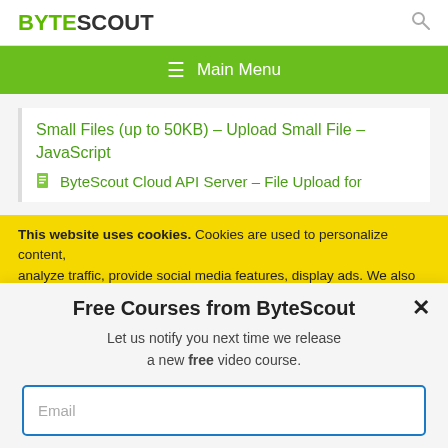BYTESCOUT
[Figure (screenshot): Green navigation bar with hamburger menu icon and 'Main Menu' text]
Small Files (up to 50KB) – Upload Small File – JavaScript
ByteScout Cloud API Server – File Upload for...
This website uses cookies. Cookies are used to personalize content, analyze traffic, provide social media features, display ads. We also share
Free Courses from ByteScout
Let us notify you next time we release a new free video course.
Email
SUBSCRIBE